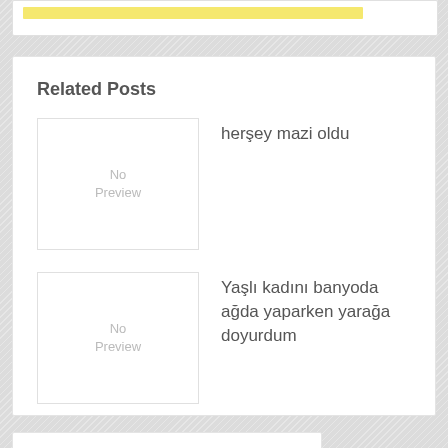Related Posts
herşey mazi oldu
Yaşlı kadını banyoda ağda yaparken yarağa doyurdum
ABOUT AUTHOR